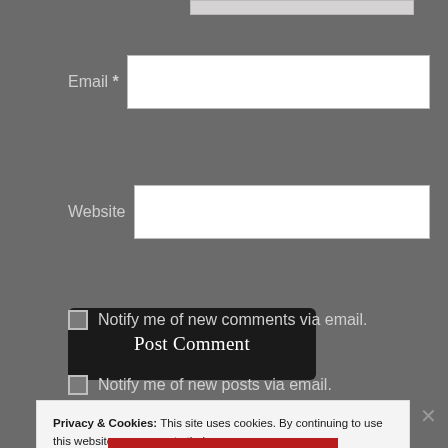[Figure (screenshot): Partial top input field bar at top of page]
Email *
[Figure (screenshot): Email input field (white rectangle)]
Website
[Figure (screenshot): Website input field (white rectangle)]
[Figure (screenshot): Post Comment button (black rounded rectangle)]
Notify me of new comments via email.
Notify me of new posts via email.
Privacy & Cookies: This site uses cookies. By continuing to use this website, you agree to their use.
To find out more, including how to control cookies, see here: Cookie Policy
Close and accept